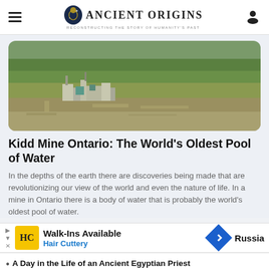Ancient Origins — Reconstructing the Story of Humanity's Past
[Figure (photo): Aerial photograph of Kidd Mine in Ontario, Canada, showing industrial mining facilities amid vast green landscape with roads and open terrain.]
Kidd Mine Ontario: The World's Oldest Pool of Water
In the depths of the earth there are discoveries being made that are revolutionizing our view of the world and even the nature of life. In a mine in Ontario there is a body of water that is probably the world's oldest pool of water.
Walk-Ins Available · Hair Cuttery [Advertisement]
A Day in the Life of an Ancient Egyptian Priest
Why were the Knights Templar So Interested in